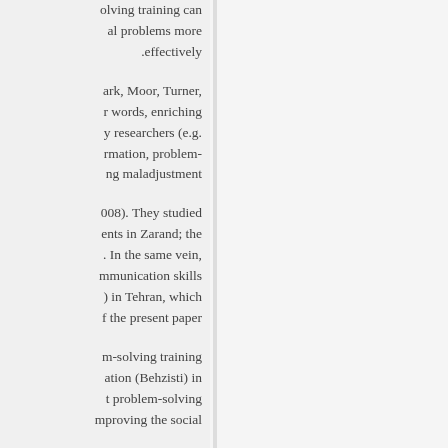olving training can al problems more .effectively
ark, Moor, Turner, r words, enriching y researchers (e.g. rmation, problem- ng maladjustment
008). They studied ents in Zarand; the . In the same vein, mmunication skills ) in Tehran, which f the present paper
m-solving training ation (Behzisti) in t problem-solving mproving the social